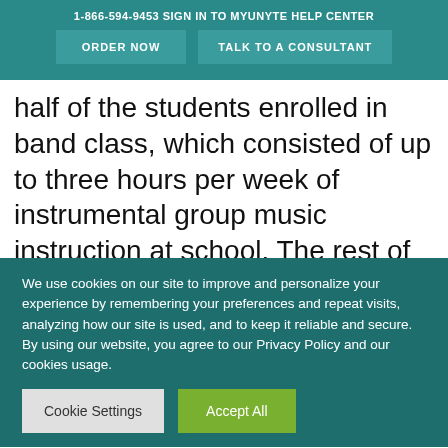1-866-594-9453   SIGN IN TO MYUNYTE   HELP CENTER
ORDER NOW   TALK TO A CONSULTANT
half of the students enrolled in band class, which consisted of up to three hours per week of instrumental group music instruction at school. The rest of the students enrolled in junior Reserve Officers’ Training Corps (ROTC), a program that encourages fitness, for a
We use cookies on our site to improve and personalize your experience by remembering your preferences and repeat visits, analyzing how our site is used, and to keep it reliable and secure. By using our website, you agree to our Privacy Policy and our cookies usage.
Cookie Settings   Accept All